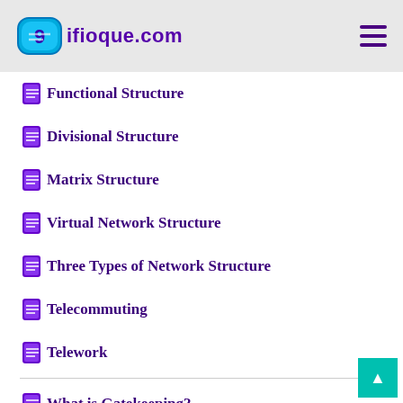ifioque.com
Functional Structure
Divisional Structure
Matrix Structure
Virtual Network Structure
Three Types of Network Structure
Telecommuting
Telework
What is Gatekeeping?
Lewin's Theory of Channels & Gatekeepers
Network Gatekeeping Theory